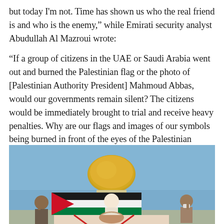but today I'm not. Time has shown us who the real friend is and who is the enemy," while Emirati security analyst Abudullah Al Mazroui wrote:
“If a group of citizens in the UAE or Saudi Arabia went out and burned the Palestinian flag or the photo of [Palestinian Authority President] Mahmoud Abbas, would our governments remain silent? The citizens would be immediately brought to trial and receive heavy penalties. Why are our flags and images of our symbols being burned in front of the eyes of the Palestinian government, while it remains silent?”
[Figure (photo): Photograph showing people holding a Palestinian flag in front of the Dome of the Rock (golden dome) in Jerusalem. Some people wear masks. A banner with a person's image is also visible.]